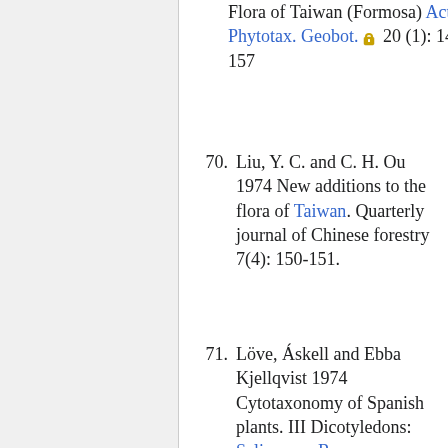Flora of Taiwan (Formosa) Acta Phytotax. Geobot. 20 (1): 149-157
70. Liu, Y. C. and C. H. Ou 1974 New additions to the flora of Taiwan. Quarterly journal of Chinese forestry 7(4): 150-151.
71. Löve, Áskell and Ebba Kjellqvist 1974 Cytotaxonomy of Spanish plants. III Dicotyledons: Salicaceae-Rosaceae Lagascalia 4(1): 2-23